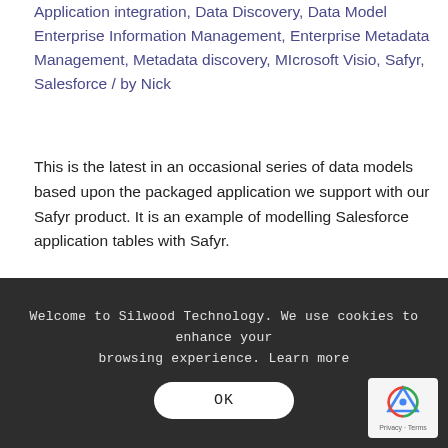Application integration, Data Discovery, Data Model Enterprise Information Management, Enterprise Metadata Management, Metadata discovery, MIcrosoft Visio, Safyr, Salesforce / by Nick
This is the latest in an occasional series of data models based upon the packaged application we support with our Safyr product. It is an example of modelling Salesforce application tables with Safyr.
Read more ›
Welcome to Silwood Technology. We use cookies to enhance your browsing experience. Learn more
OK